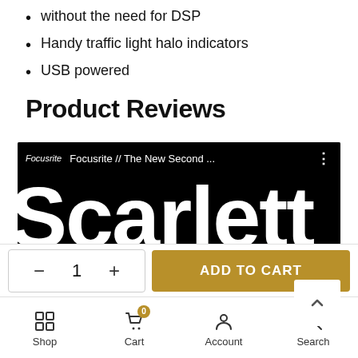without the need for DSP
Handy traffic light halo indicators
USB powered
Product Reviews
[Figure (screenshot): YouTube video thumbnail showing Focusrite Scarlett product promotional video. Black background with large white 'Scarlett' text and bottom text 'eneration. Better. Fast'. Top bar shows channel name 'Focusrite' and title 'Focusrite // The New Second ...' with a back-to-top arrow button overlay.]
ADD TO CART
Shop  Cart  Account  Search